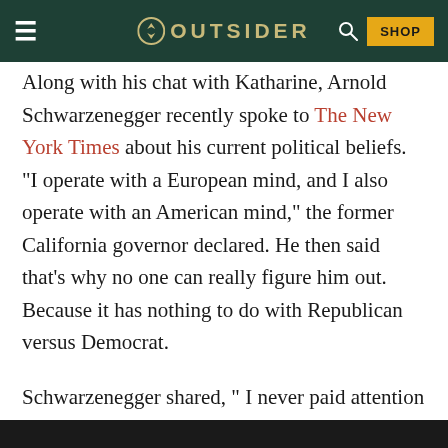OUTSIDER
Along with his chat with Katharine, Arnold Schwarzenegger recently spoke to The New York Times about his current political beliefs. “I operate with a European mind, and I also operate with an American mind,” the former California governor declared. He then said that’s why no one can really figure him out. Because it has nothing to do with Republican versus Democrat.
Schwarzenegger shared, “ I never paid attention to any of this political stuff, period.